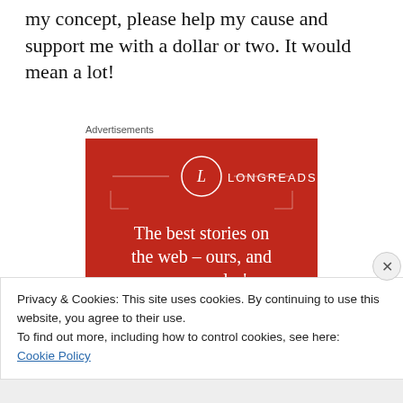my concept, please help my cause and support me with a dollar or two. It would mean a lot!
Advertisements
[Figure (logo): Longreads advertisement banner with red background, circular L logo, tagline 'The best stories on the web – ours, and everyone else's.' and a 'Start reading' black button.]
Privacy & Cookies: This site uses cookies. By continuing to use this website, you agree to their use.
To find out more, including how to control cookies, see here: Cookie Policy
Close and accept